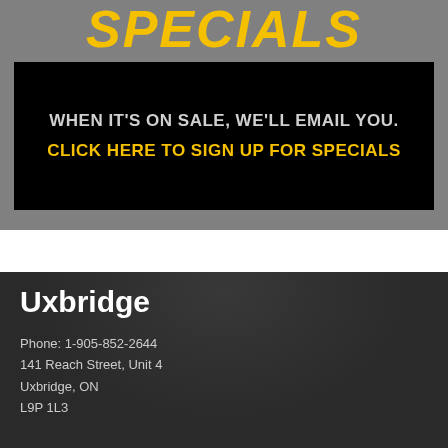SPECIALS
WHEN IT'S ON SALE, WE'LL EMAIL YOU.
CLICK HERE TO SIGN UP FOR SPECIALS
Uxbridge
Phone: 1-905-852-2644
141 Reach Street, Unit 4
Uxbridge, ON
L9P 1L3